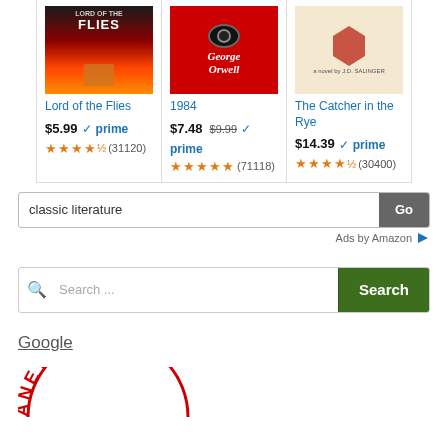[Figure (screenshot): Amazon product listing for 'Lord of the Flies' book cover image]
Lord of the Flies
$5.99 ✓prime ★★★★½ (31120)
[Figure (screenshot): Amazon product listing for '1984' book cover image]
1984
$7.48 $9.99 ✓prime ★★★★★ (71118)
[Figure (screenshot): Amazon product listing for 'The Catcher in the Rye' book cover image]
The Catcher in the Rye
$14.39 ✓prime ★★★★½ (30400)
classic literature
Go
Ads by Amazon ▷
Search ...
Search
Google
ANET DEFENS